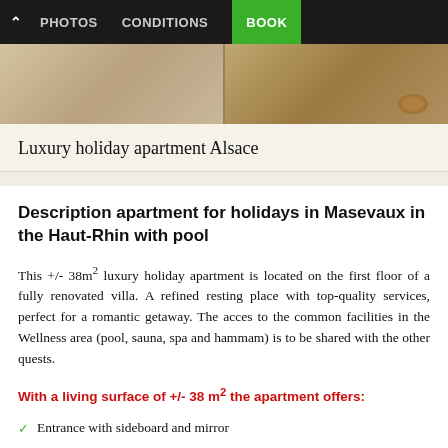^ PHOTOS  CONDITIONS  BOOK
[Figure (photo): Partial view of a luxury holiday apartment interior and outdoor area, showing furniture and what appears to be a cat or small animal]
Luxury holiday apartment Alsace
Description apartment for holidays in Masevaux in the Haut-Rhin with pool
This +/- 38m² luxury holiday apartment is located on the first floor of a fully renovated villa. A refined resting place with top-quality services, perfect for a romantic getaway. The acces to the common facilities in the Wellness area (pool, sauna, spa and hammam) is to be shared with the other quests.
With a living surface of +/- 38 m² the apartment offers:
Entrance with sideboard and mirror